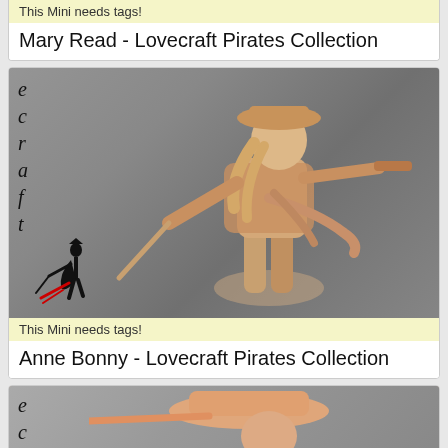This Mini needs tags!
Mary Read - Lovecraft Pirates Collection
[Figure (photo): 3D miniature figurine of Anne Bonny pirate character holding a sword and pistol, in unfinished tan/beige resin. ECcraft logo with vertical letters 'e c r a f t' and a black silhouette of a swordswoman with red slash on left side.]
This Mini needs tags!
Anne Bonny - Lovecraft Pirates Collection
[Figure (photo): Partial view of another 3D pirate miniature figurine in tan/pink resin with a hat and sword, partially visible at bottom of page. ECcraft logo letters 'e c' visible on left.]